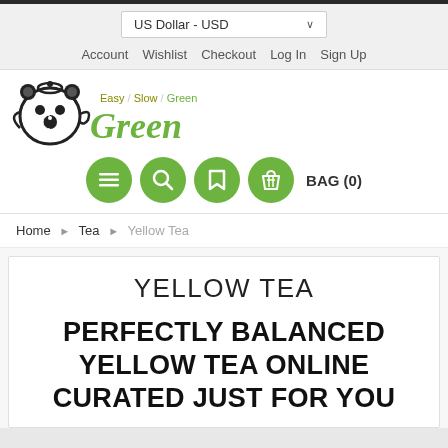US Dollar - USD
Account  Wishlist  Checkout  Log In  Sign Up
[Figure (logo): ecoGreen logo with panda teapot icon and tagline Easy / Slow / Green in green cursive script]
[Figure (infographic): Four green circular icon buttons (menu, search, bookmark, shopping bag) with BAG (0) text label]
Home > Tea > Yellow Tea
YELLOW TEA
PERFECTLY BALANCED YELLOW TEA ONLINE CURATED JUST FOR YOU